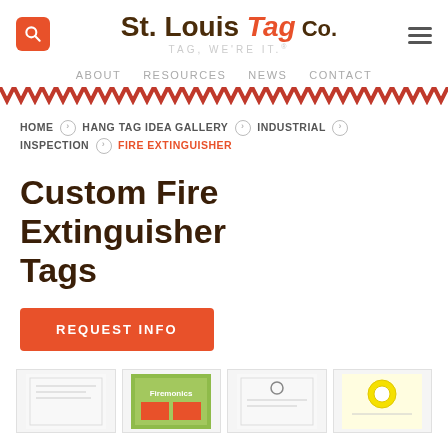St. Louis Tag Co. — TAG, WE'RE IT.®
ABOUT  RESOURCES  NEWS  CONTACT
HOME › HANG TAG IDEA GALLERY › INDUSTRIAL › INSPECTION › FIRE EXTINGUISHER
Custom Fire Extinguisher Tags
REQUEST INFO
[Figure (photo): Four product thumbnail images of fire extinguisher tags at the bottom of the page]